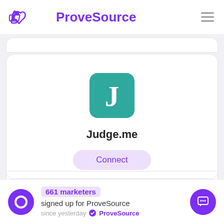ProveSource
[Figure (logo): Judge.me teal rounded square icon with white letter J]
Judge.me
Connect
Learn More
661 marketers signed up for ProveSource since yesterday ✓ ProveSource